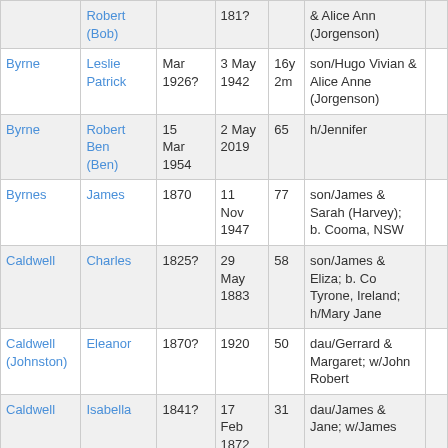| Surname | Given Name | Birth | Death | Age | Notes |  |
| --- | --- | --- | --- | --- | --- | --- |
| Robert (Bob) |  | 181? |  | & Alice Ann (Jorgenson) |  |
| Byrne | Leslie Patrick | Mar 1926? | 3 May 1942 | 16y 2m | son/Hugo Vivian & Alice Anne (Jorgenson) |  |
| Byrne | Robert Ben (Ben) | 15 Mar 1954 | 2 May 2019 | 65 | h/Jennifer |  |
| Byrnes | James | 1870 | 11 Nov 1947 | 77 | son/James & Sarah (Harvey); b. Cooma, NSW |  |
| Caldwell | Charles | 1825? | 29 May 1883 | 58 | son/James & Eliza; b. Co Tyrone, Ireland; h/Mary Jane |  |
| Caldwell (Johnston) | Eleanor | 1870? | 1920 | 50 | dau/Gerrard & Margaret; w/John Robert |  |
| Caldwell | Isabella | 1841? | 17 Feb 1872 | 31 | dau/James & Jane; w/James |  |
| Caldwell | James | 1840? | 30 Aug | 71 | son/James & Jane; h/Isabella |  |